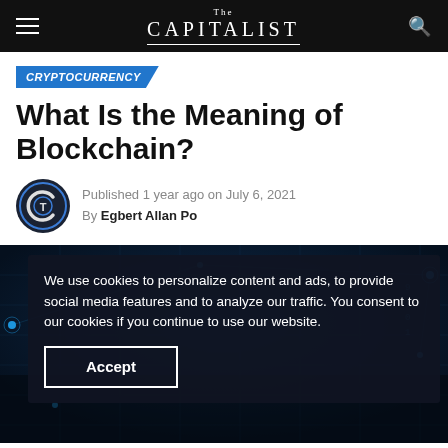The CAPITALIST
CRYPTOCURRENCY
What Is the Meaning of Blockchain?
Published 1 year ago on July 6, 2021
By Egbert Allan Po
[Figure (photo): Dark digital technology background image with glowing blue network nodes and a hand touching a digital surface, overlaid with a cookie consent banner.]
We use cookies to personalize content and ads, to provide social media features and to analyze our traffic. You consent to our cookies if you continue to use our website.